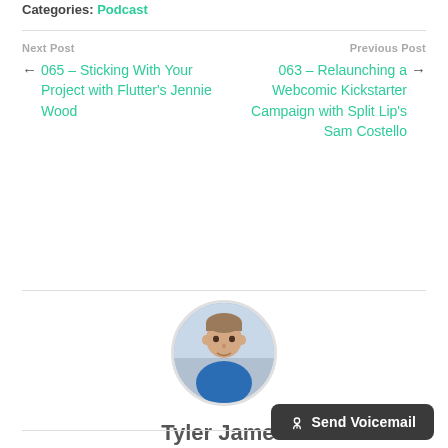Categories: Podcast
Next Post
← 065 – Sticking With Your Project with Flutter's Jennie Wood
Previous Post
063 – Relaunching a Webcomic Kickstarter Campaign with Split Lip's Sam Costello →
[Figure (photo): Circular avatar photo of Tyler James, a man in a blue shirt]
Tyler James
🎙 Send Voicemail